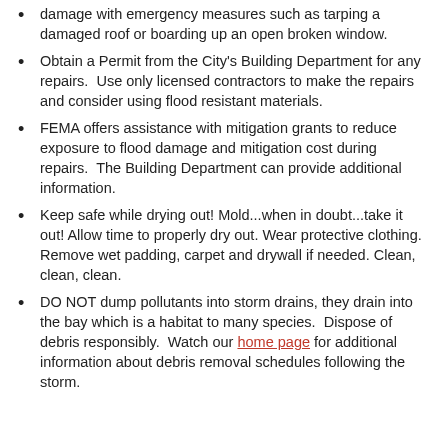damage with emergency measures such as tarping a damaged roof or boarding up an open broken window.
Obtain a Permit from the City's Building Department for any repairs.  Use only licensed contractors to make the repairs and consider using flood resistant materials.
FEMA offers assistance with mitigation grants to reduce exposure to flood damage and mitigation cost during repairs.  The Building Department can provide additional information.
Keep safe while drying out! Mold...when in doubt...take it out! Allow time to properly dry out. Wear protective clothing. Remove wet padding, carpet and drywall if needed. Clean, clean, clean.
DO NOT dump pollutants into storm drains, they drain into the bay which is a habitat to many species.  Dispose of debris responsibly.  Watch our home page for additional information about debris removal schedules following the storm.